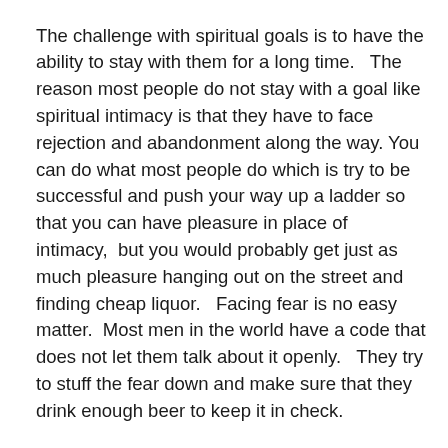The challenge with spiritual goals is to have the ability to stay with them for a long time.   The reason most people do not stay with a goal like spiritual intimacy is that they have to face rejection and abandonment along the way.  You can do what most people do which is try to be successful and push your way up a ladder so that you can have pleasure in place of intimacy,  but you would probably get just as much pleasure hanging out on the street and finding cheap liquor.   Facing fear is no easy matter.  Most men in the world have a code that does not let them talk about it openly.   They try to stuff the fear down and make sure that they drink enough beer to keep it in check.
The spiritual path is so much more difficult than the material one, but life will always try to bring you back to it to the very end.   It is relentless.